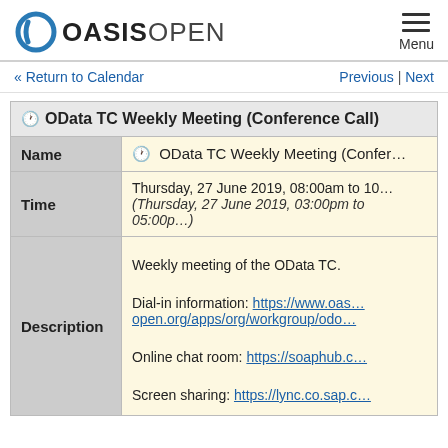OASIS OPEN — Menu
« Return to Calendar   Previous | Next
|  | OData TC Weekly Meeting (Conference Call) |
| --- | --- |
| Name | 🕐 OData TC Weekly Meeting (Conference Call) |
| Time | Thursday, 27 June 2019, 08:00am to 10... (Thursday, 27 June 2019, 03:00pm to 05:00p... |
| Description | Weekly meeting of the OData TC.

Dial-in information: https://www.oassis-open.org/apps/org/workgroup/odo...

Online chat room: https://soaphub.c...

Screen sharing: https://lync.co.sap.c... |